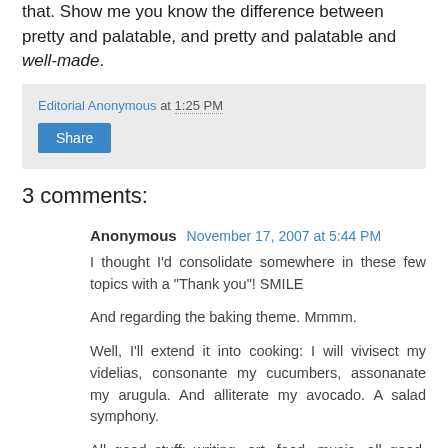that. Show me you know the difference between pretty and palatable, and pretty and palatable and well-made.
Editorial Anonymous at 1:25 PM
Share
3 comments:
Anonymous November 17, 2007 at 5:44 PM
I thought I'd consolidate somewhere in these few topics with a "Thank you"! SMILE
And regarding the baking theme. Mmmm.
Well, I'll extend it into cooking: I will vivisect my videlias, consonante my cucumbers, assonanate my arugula. And alliterate my avocado. A salad symphony.
All good stuff: writing, art, food, music...all good. SMILE
Reply